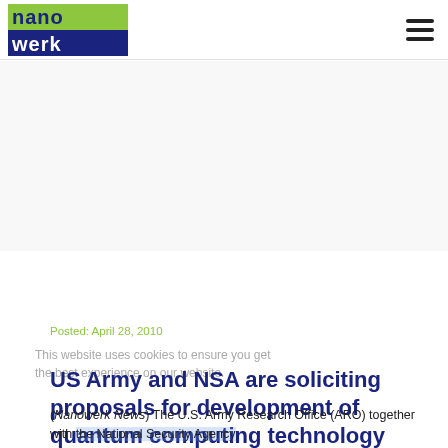nanowerk [logo] [hamburger menu]
Posted: April 28, 2010
US Army and NSA are soliciting proposals for development of quantum computing technology
(Nanowerk News) The U.S. Army Research Office (ARO) together with the National Security Agency (NSA) is soliciting proposals for basic and applied